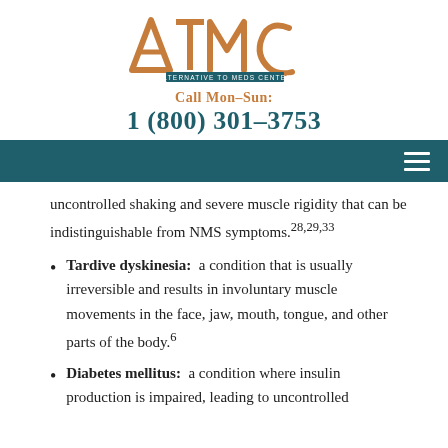[Figure (logo): ATMC - Alternative to Meds Center logo with orange/copper letters and teal banner]
Call Mon–Sun:
1 (800) 301–3753
uncontrolled shaking and severe muscle rigidity that can be indistinguishable from NMS symptoms.28,29,33
Tardive dyskinesia: a condition that is usually irreversible and results in involuntary muscle movements in the face, jaw, mouth, tongue, and other parts of the body.6
Diabetes mellitus: a condition where insulin production is impaired, leading to uncontrolled